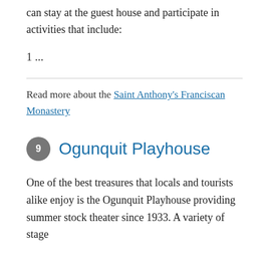can stay at the guest house and participate in activities that include:
1 ...
Read more about the Saint Anthony's Franciscan Monastery
9 Ogunquit Playhouse
One of the best treasures that locals and tourists alike enjoy is the Ogunquit Playhouse providing summer stock theater since 1933. A variety of stage